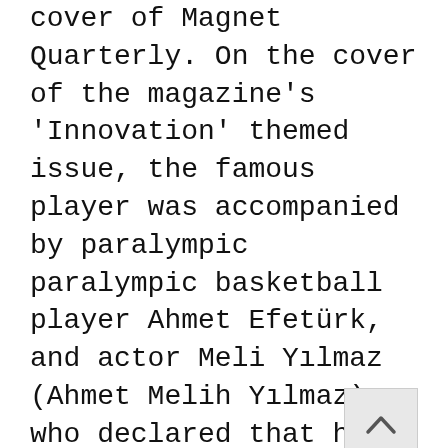cover of Magnet Quarterly. On the cover of the magazine's 'Innovation' themed issue, the famous player was accompanied by paralympic paralympic basketball player Ahmet Efetürk, and actor Meli Yılmaz (Ahmet Melih Yılmaz), who declared that he was a trans person and was 'reborn' with his new identity.